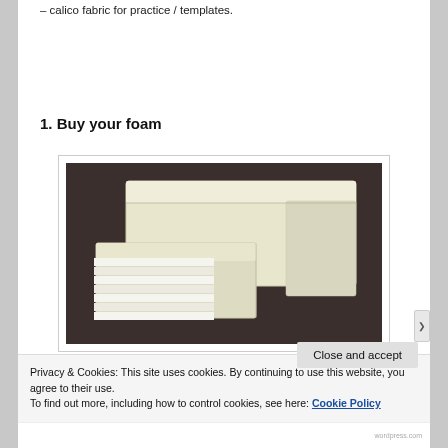calico fabric for practice / templates.
1. Buy your foam
[Figure (photo): Photo of foam blocks/pieces stacked on a dark surface, showing white/cream colored foam panels]
Privacy & Cookies: This site uses cookies. By continuing to use this website, you agree to their use.
To find out more, including how to control cookies, see here: Cookie Policy
Close and accept